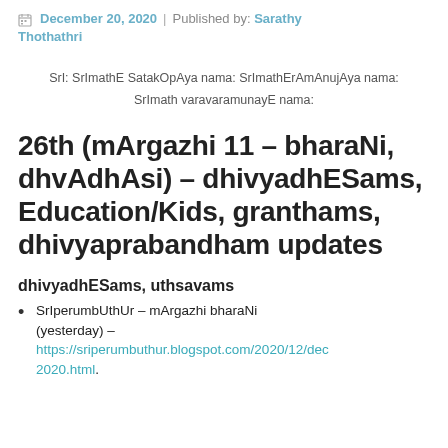December 20, 2020 | Published by: Sarathy Thothathri
SrI: SrImathE SatakOpAya nama: SrImathErAmAnujAya nama: SrImath varavaramunayE nama:
26th (mArgazhi 11 – bharaNi, dhvAdhAsi) – dhivyadhESams, Education/Kids, granthams, dhivyaprabandham updates
dhivyadhESams, uthsavams
SrIperumbUthUr – mArgazhi bharaNi (yesterday) – https://sriperumbuthur.blogspot.com/2020/12/dec 2020.html .